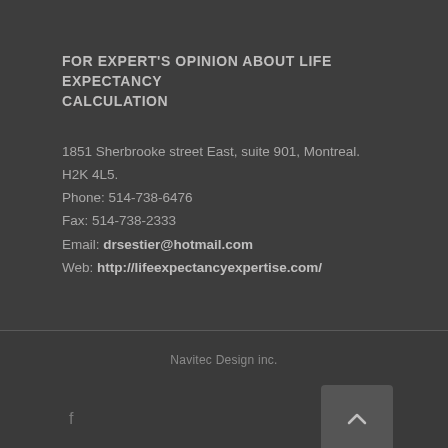FOR EXPERT'S OPINION ABOUT LIFE EXPECTANCY CALCULATION
1851 Sherbrooke street East, suite 901, Montreal. H2K 4L5.
Phone: 514-738-6476
Fax: 514-738-2333
Email: drsestier@hotmail.com
Web: http://lifeexpectancyexpertise.com/
Navitec Design inc.